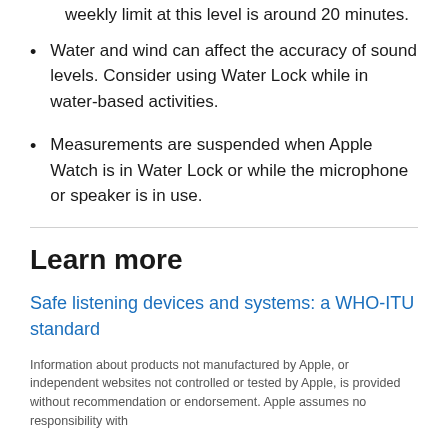weekly limit at this level is around 20 minutes.
Water and wind can affect the accuracy of sound levels. Consider using Water Lock while in water-based activities.
Measurements are suspended when Apple Watch is in Water Lock or while the microphone or speaker is in use.
Learn more
Safe listening devices and systems: a WHO-ITU standard
Information about products not manufactured by Apple, or independent websites not controlled or tested by Apple, is provided without recommendation or endorsement. Apple assumes no responsibility with